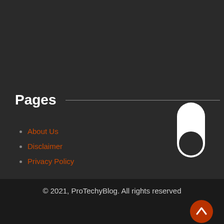Pages
About Us
Disclaimer
Privacy Policy
[Figure (illustration): A dark-mode toggle switch widget showing an off/on toggle in white, positioned to the right side of the page]
© 2021, ProTechyBlog. All rights reserved